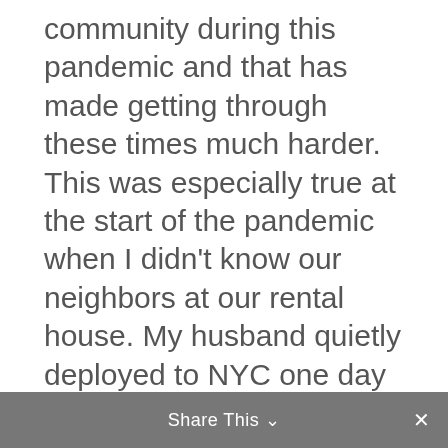community during this pandemic and that has made getting through these times much harder. This was especially true at the start of the pandemic when I didn't know our neighbors at our rental house. My husband quietly deployed to NYC one day and I quietly stayed in the home with our four boys. I don't think anyone knew or noticed. When we moved into our home that we live in now, I met and texted a few neighbors, but we didn't gather. Additionally, my family was on the other side of the country. My closest friends, scattered around the country, were available by text. I cobbled together as much support as I could via text messages and phone calls. Also, I
Share This ∨  ×